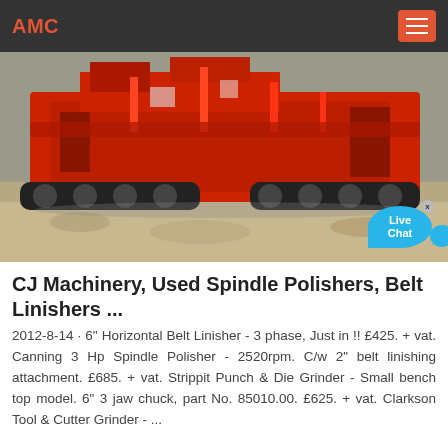AMC
[Figure (photo): Large red industrial crushing/screening machine on a dirt/gravel site, with a Live Chat bubble overlay in the bottom-right corner.]
CJ Machinery, Used Spindle Polishers, Belt Linishers ...
2012-8-14 · 6" Horizontal Belt Linisher - 3 phase, Just in !! £425. + vat. Canning 3 Hp Spindle Polisher - 2520rpm. C/w 2" belt linishing attachment. £685. + vat. Strippit Punch & Die Grinder - Small bench top model. 6" 3 jaw chuck, part No. 85010.00. £625. + vat. Clarkson Tool & Cutter Grinder - ...